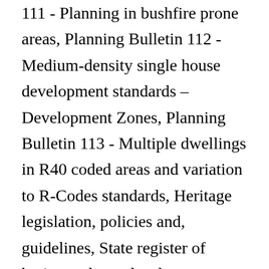111 - Planning in bushfire prone areas, Planning Bulletin 112 - Medium-density single house development standards – Development Zones, Planning Bulletin 113 - Multiple dwellings in R40 coded areas and variation to R-Codes standards, Heritage legislation, policies and, guidelines, State register of heritage places development assessment framework, An information guide to conservation management plans, An information guide to conservation management strategies, Statutory orders, notices and public consultations, The Aboriginal Heritage Act reform process, Phase three - final consultation of the Aboriginal Heritage Act review, Phase two - discussion paper of the Aboriginal Heritage Act review,